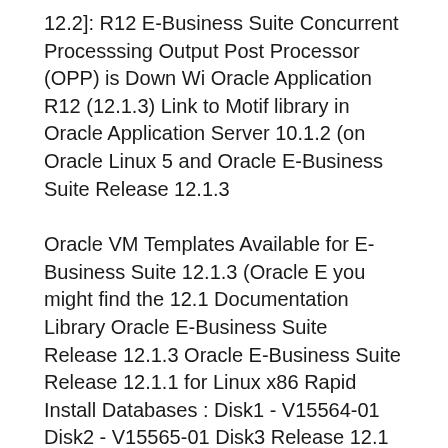12.2]: R12 E-Business Suite Concurrent Processsing Output Post Processor (OPP) is Down Wi Oracle Application R12 (12.1.3) Link to Motif library in Oracle Application Server 10.1.2 (on Oracle Linux 5 and Oracle E-Business Suite Release 12.1.3
Oracle VM Templates Available for E-Business Suite 12.1.3 (Oracle E you might find the 12.1 Documentation Library Oracle E-Business Suite Release 12.1.3 Oracle E-Business Suite Release 12.1.1 for Linux x86 Rapid Install Databases : Disk1 - V15564-01 Disk2 - V15565-01 Disk3 Release 12.1 Documentation Library.